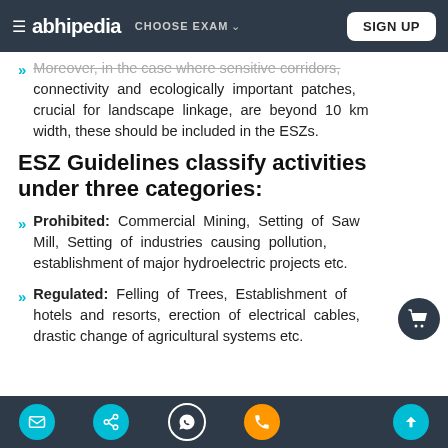abhipedia  CHOOSE EXAM  SIGN UP
Moreover, in the case where sensitive corridors, connectivity and ecologically important patches, crucial for landscape linkage, are beyond 10 km width, these should be included in the ESZs.
ESZ Guidelines classify activities under three categories:
Prohibited: Commercial Mining, Setting of Saw Mill, Setting of industries causing pollution, establishment of major hydroelectric projects etc.
Regulated: Felling of Trees, Establishment of hotels and resorts, erection of electrical cables, drastic change of agricultural systems etc.
[navigation icons]